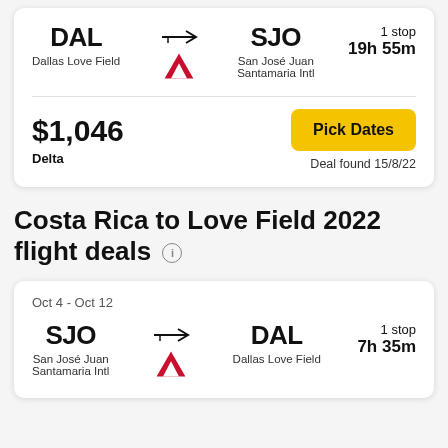DAL → SJO | Dallas Love Field | San José Juan Santamaria Intl | 1 stop | 19h 55m
$1,046 | Delta | Pick Dates | Deal found 15/8/22
Costa Rica to Love Field 2022 flight deals
Oct 4 - Oct 12
SJO → DAL | San José Juan Santamaria Intl | Dallas Love Field | 1 stop | 7h 35m